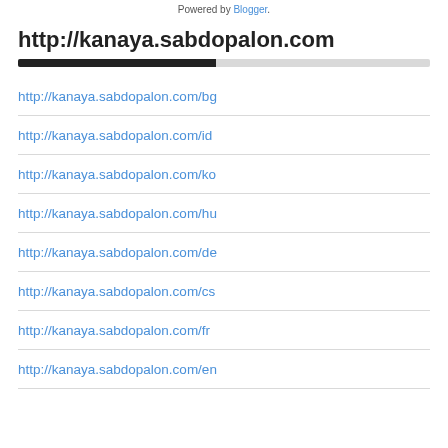Powered by Blogger.
http://kanaya.sabdopalon.com
http://kanaya.sabdopalon.com/bg
http://kanaya.sabdopalon.com/id
http://kanaya.sabdopalon.com/ko
http://kanaya.sabdopalon.com/hu
http://kanaya.sabdopalon.com/de
http://kanaya.sabdopalon.com/cs
http://kanaya.sabdopalon.com/fr
http://kanaya.sabdopalon.com/en